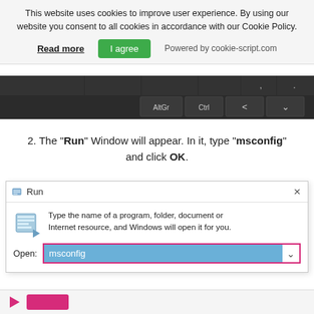This website uses cookies to improve user experience. By using our website you consent to all cookies in accordance with our Cookie Policy.
Read more   I agree   Powered by cookie-script.com
[Figure (screenshot): Bottom portion of an on-screen keyboard showing keys including AltGr, Ctrl, < and a chevron key, on a dark background.]
2. The "Run" Window will appear. In it, type "msconfig" and click OK.
[Figure (screenshot): Windows Run dialog box showing an icon, description text 'Type the name of a program, folder, document or Internet resource, and Windows will open it for you.', and an Open field with 'msconfig' typed in, highlighted in blue. The input box is outlined in pink/magenta.]
[Figure (screenshot): Bottom strip of page showing a pink arrow and pink button, partially visible.]